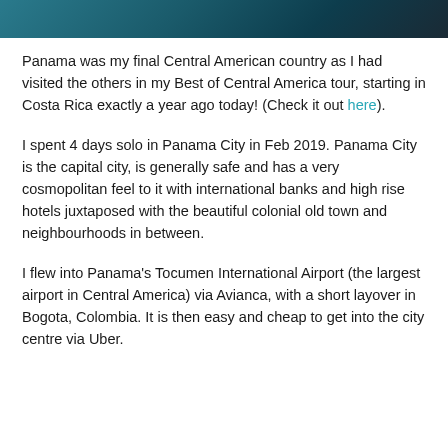[Figure (photo): Partial view of a photo with teal/dark tones at the top of the page]
Panama was my final Central American country as I had visited the others in my Best of Central America tour, starting in Costa Rica exactly a year ago today! (Check it out here).
I spent 4 days solo in Panama City in Feb 2019. Panama City is the capital city, is generally safe and has a very cosmopolitan feel to it with international banks and high rise hotels juxtaposed with the beautiful colonial old town and neighbourhoods in between.
I flew into Panama's Tocumen International Airport (the largest airport in Central America) via Avianca, with a short layover in Bogota, Colombia. It is then easy and cheap to get into the city centre via Uber.